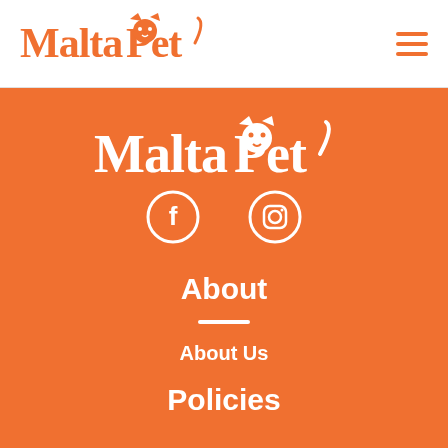MaltaPet
[Figure (logo): MaltaPet logo in orange with stylized pet face in center of letters, white background header]
[Figure (logo): MaltaPet logo large white version on orange background footer area]
[Figure (infographic): Facebook and Instagram social media icons in white circles on orange background]
About
About Us
Policies